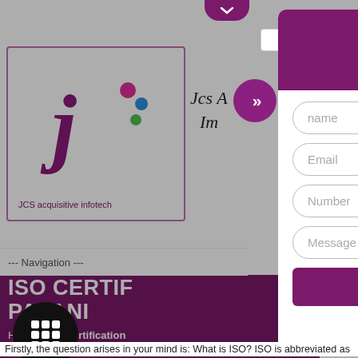[Figure (screenshot): Website screenshot showing JCS Acquisitive Infotech logo on left side with purple ISO certification page, and an enquiry modal popup on the right with call number 9760885708, enquiry now button, and form fields for name, email, number, message, and submit button.]
Call 9760885708
ENQUIRY NOW
--- Navigation ---
ISO CERTIFICATION PALANI
Home / ISO Certification
ISO C
Firstly, the question arises in your mind is: What is ISO? ISO is abbreviated as